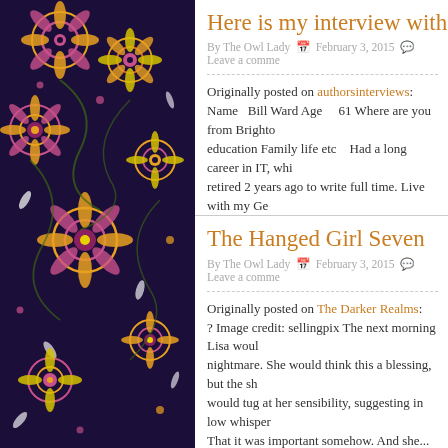[Figure (illustration): Decorative floral/abstract pattern sidebar with dark background, featuring colorful peacock feather-like motifs in pink, gold, orange, and white on dark navy/purple.]
Here is my interview with Bill W
By The Owl Lady   February 3, 2015   Leave a comme
Originally posted on authorsinterviews: Name  Bill Ward Age    61 Where are you from Brighto education Family life etc   Had a long career in IT, whi retired 2 years ago to write full time. Live with my Ge
The Hanged Girl Seven
By The Owl Lady   February 3, 2015   Leave a comme
Originally posted on The Darker Realms: ? Image credit: sellingpix The next morning Lisa woul nightmare. She would think this a blessing, but the sh would tug at her sensibility, suggesting in low whispe That it was important somehow. And she...
Second Chance by Dylan S He